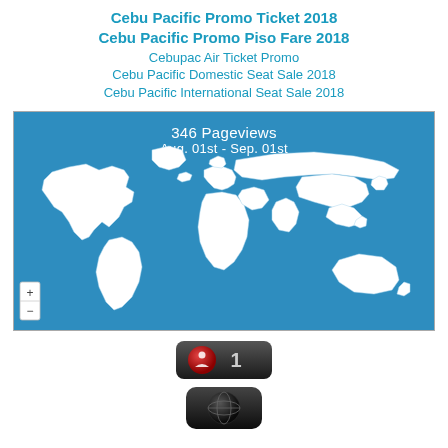Cebu Pacific Promo Ticket 2018
Cebu Pacific Promo Piso Fare 2018
Cebupac Air Ticket Promo
Cebu Pacific Domestic Seat Sale 2018
Cebu Pacific International Seat Sale 2018
[Figure (map): World map with blue ocean background showing 346 Pageviews Aug. 01st - Sep. 01st, with white country outlines and zoom controls]
[Figure (infographic): Dark badge/button with red circular icon and number 1, and a dark globe badge below it]